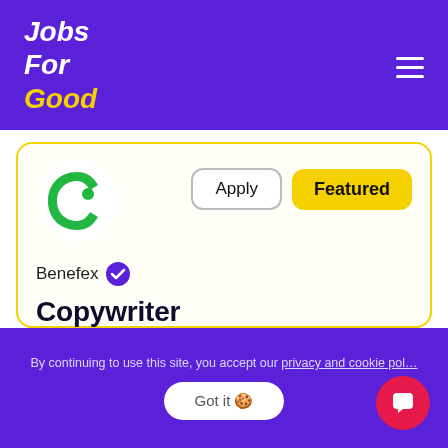Jobs For Good
[Figure (logo): Benefex company logo - green circular shape with letter B]
Apply
Featured
Benefex (verified)
Copywriter
🏥 Health & Wellbeing
💷£25000-£27000
Hybrid
Southampton
Full-time
By continuing to use this site, you accept our privacy and cookie pol…